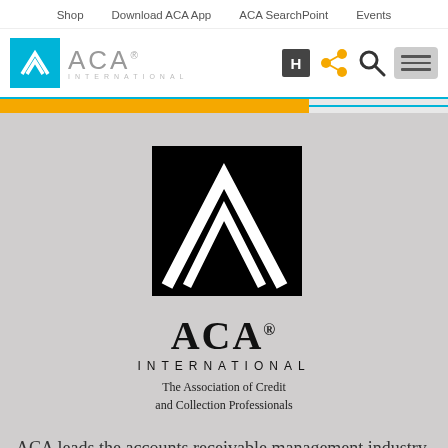Shop   Download ACA App   ACA SearchPoint   Events
[Figure (logo): ACA International logo in header navigation bar with blue square icon, ACA text, and icons for H, share, search, and menu]
[Figure (logo): ACA International large black logo with mountain icon, ACA text with registered mark, INTERNATIONAL text, and tagline 'The Association of Credit and Collection Professionals']
ACA leads the accounts receivable management industry through education, advocacy, and resources designed to help